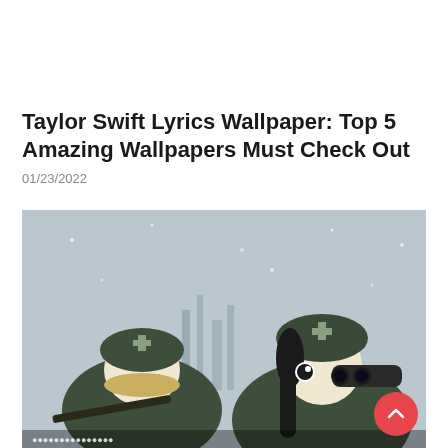Taylor Swift Lyrics Wallpaper: Top 5 Amazing Wallpapers Must Check Out
01/23/2022
[Figure (illustration): Anime illustration of two chibi-style characters dressed in military gear with helmets in a snowy/misty setting. One character holds a rifle, the other holds binoculars to their eye.]